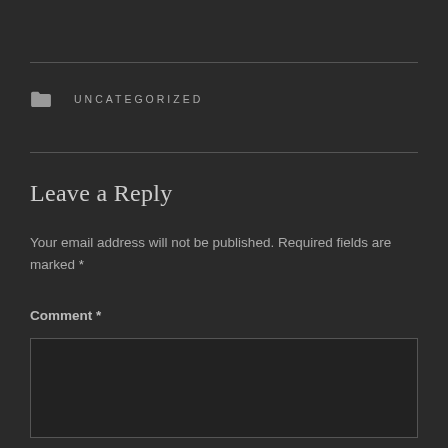UNCATEGORIZED
Leave a Reply
Your email address will not be published. Required fields are marked *
Comment *